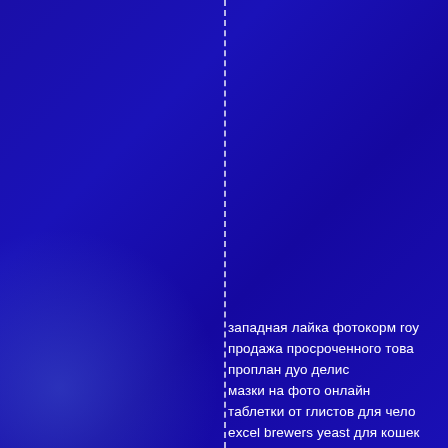[Figure (illustration): Dark blue background with a vertical white dashed line dividing the page roughly in half. A soft blue-purple glow/gradient on the lower left area.]
западная лайка фотокорм roy продажа просроченного това проплан дуо делис мазки на фото онлайн таблетки от глистов для чело excel brewers yeast для кошек официальный сайт асд фракц для кошек purina